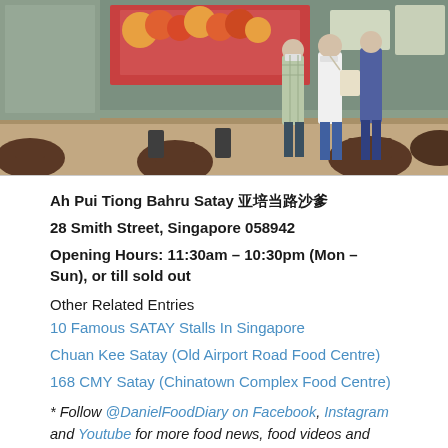[Figure (photo): Indoor food court or restaurant scene with people standing and talking, round tables and chairs visible, decorative flowers in background]
Ah Pui Tiong Bahru Satay 亚培当路沙爹
28 Smith Street, Singapore 058942
Opening Hours: 11:30am – 10:30pm (Mon – Sun), or till sold out
Other Related Entries
10 Famous SATAY Stalls In Singapore
Chuan Kee Satay (Old Airport Road Food Centre)
168 CMY Satay (Chinatown Complex Food Centre)
* Follow @DanielFoodDiary on Facebook, Instagram and Youtube for more food news, food videos and travel highlights. DFD paid for food reviewed unless otherwise